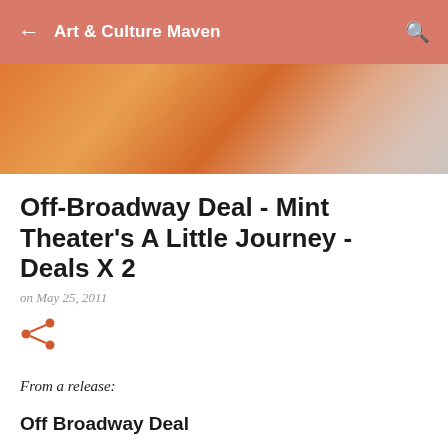Art & Culture Maven
[Figure (photo): Blurred abstract orange and warm-toned background hero image]
Off-Broadway Deal - Mint Theater's A Little Journey - Deals X 2
on May 25, 2011
[Figure (other): Share icon (orange)]
From a release:
Off Broadway Deal
Mint Theater Company Presents